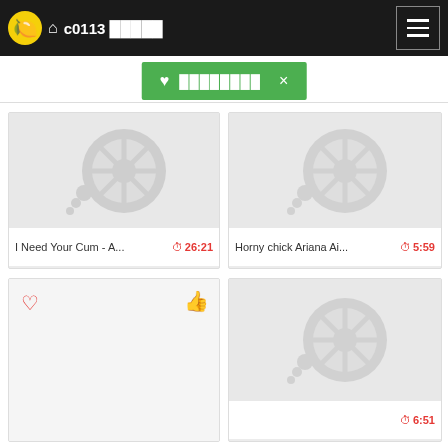c0113 (Japanese characters)
♥ (Japanese characters) ×
[Figure (screenshot): Video thumbnail placeholder with gray wheel/tire icon, title 'I Need Your Cum - A...', duration 26:21]
[Figure (screenshot): Video thumbnail placeholder with gray wheel/tire icon, title 'Horny chick Ariana Ai...', duration 5:59]
[Figure (screenshot): Empty card with heart outline and thumbs up icons]
[Figure (screenshot): Video thumbnail placeholder with gray wheel/tire icon, duration 6:51]